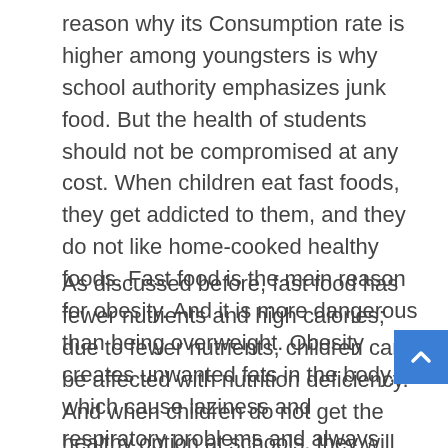reason why its Consumption rate is higher among youngsters is why school authority emphasizes junk food. But the health of students should not be compromised at any cost. When children eat fast foods, they get addicted to them, and they do not like home-cooked healthy foods. Fast food is the main reason for obesity. And it is more dangerous than being overweight. Obesity creates unwanted fats in the body, which cause laziness and respiratory problems and always make you look tired.
As discussed before, fast food has fewer nutrients and high calories; due to fewer nutrients, children can be affected with nutrition deficiency. And when children do not get the healthy option at schools, they will opt for unhealthy food risking their health in danger. Fast food affects children badly; they become overweight, do not have the strength or power to do even a little, and get tired easily. They can not enjoy life like other normal children.